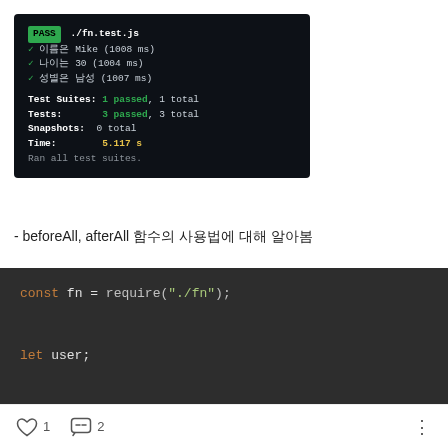[Figure (screenshot): Terminal output showing Jest test results: PASS ./fn.test.js with 3 Korean-labeled tests passing (이름은 Mike 1008ms, 나이는 30 1004ms, 성별은 남성 1007ms). Test Suites: 1 passed 1 total. Tests: 3 passed 3 total. Snapshots: 0 total. Time: 5.117 s. Ran all test suites.]
- beforeAll, afterAll 함수의 사용법에 대해 알아봄
[Figure (screenshot): Code block showing: const fn = require('./fn'); let user; beforeAll(async () => { user = await fn.connectUserDb();]
1 like  2 comments